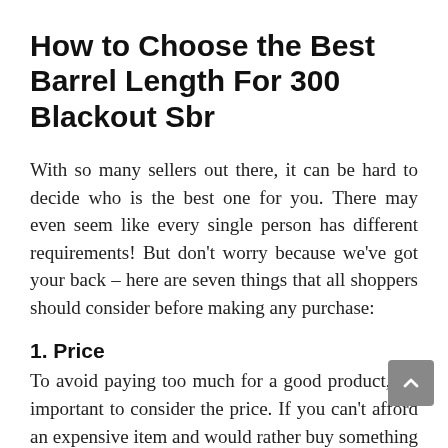How to Choose the Best Barrel Length For 300 Blackout Sbr
With so many sellers out there, it can be hard to decide who is the best one for you. There may even seem like every single person has different requirements! But don’t worry because we’ve got your back – here are seven things that all shoppers should consider before making any purchase:
1. Price
To avoid paying too much for a good product, it’s important to consider the price. If you can’t afford an expensive item and would rather buy something cheaper or wait until